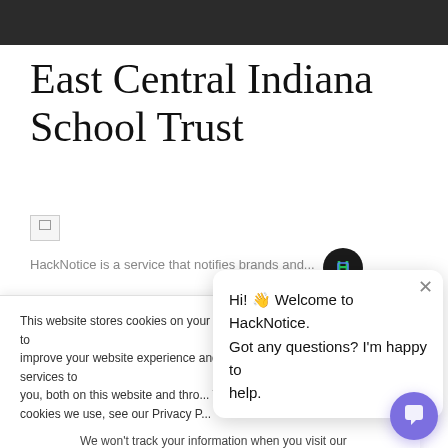East Central Indiana School Trust
[Figure (other): Broken image placeholder icon]
HackNotice is a service that notifies brands and...
This website stores cookies on your computer. These cookies are used to improve your website experience and provide more personalized services to you, both on this website and through other media. To find out more about the cookies we use, see our Privacy P...
We won't track your information when you visit our site. But in order to comply with your preferences, we'll have to use just one tiny cookie so that you're not asked to make this choice again.
Accept
Decline
Hi! 👋 Welcome to HackNotice. Got any questions? I'm happy to help.